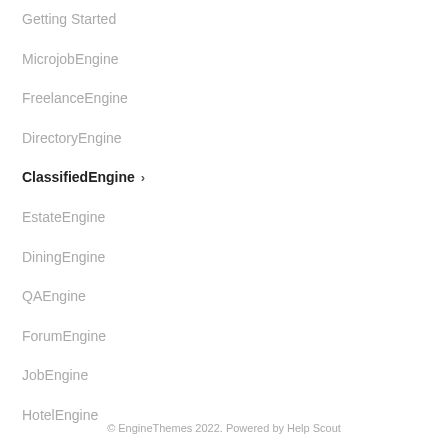Getting Started
MicrojobEngine
FreelanceEngine
DirectoryEngine
ClassifiedEngine
EstateEngine
DiningEngine
QAEngine
ForumEngine
JobEngine
HotelEngine
AE extensions
© EngineThemes 2022. Powered by Help Scout